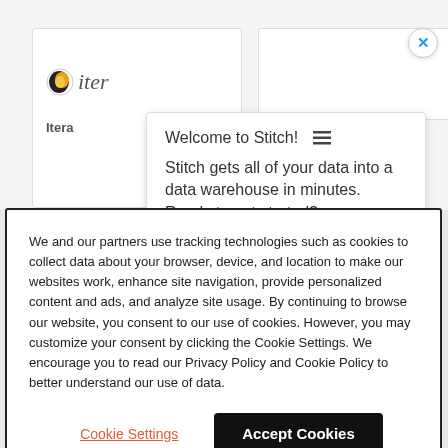[Figure (screenshot): Background web page with left white card panel and right white card panel, with a circular X close button in blue at top right]
Welcome to Stitch! ≡
Stitch gets all of your data into a data warehouse in minutes. Ready to get started?
We and our partners use tracking technologies such as cookies to collect data about your browser, device, and location to make our websites work, enhance site navigation, provide personalized content and ads, and analyze site usage. By continuing to browse our website, you consent to our use of cookies. However, you may customize your consent by clicking the Cookie Settings. We encourage you to read our Privacy Policy and Cookie Policy to better understand our use of data.
Cookie Settings
Accept Cookies